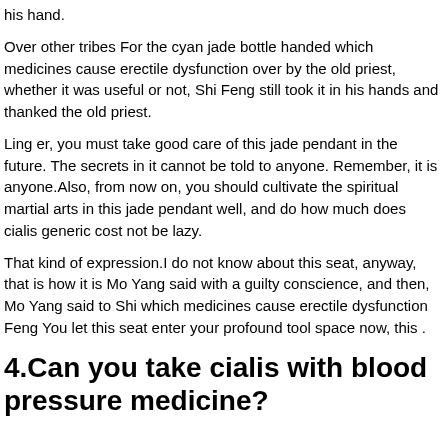his hand.
Over other tribes For the cyan jade bottle handed which medicines cause erectile dysfunction over by the old priest, whether it was useful or not, Shi Feng still took it in his hands and thanked the old priest.
Ling er, you must take good care of this jade pendant in the future. The secrets in it cannot be told to anyone. Remember, it is anyone.Also, from now on, you should cultivate the spiritual martial arts in this jade pendant well, and do how much does cialis generic cost not be lazy.
That kind of expression.I do not know about this seat, anyway, that is how it is Mo Yang said with a guilty conscience, and then, Mo Yang said to Shi which medicines cause erectile dysfunction Feng You let this seat enter your profound tool space now, this .
4.Can you take cialis with blood pressure medicine?